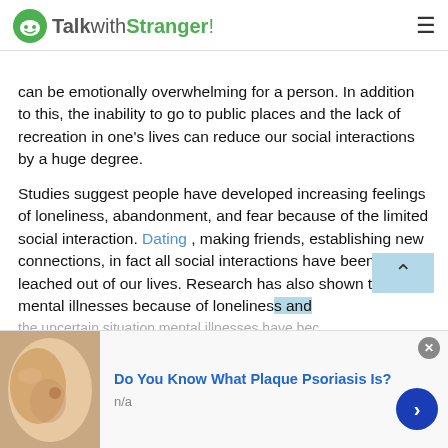TalkwithStranger!
can be emotionally overwhelming for a person. In addition to this, the inability to go to public places and the lack of recreation in one's lives can reduce our social interactions by a huge degree.
Studies suggest people have developed increasing feelings of loneliness, abandonment, and fear because of the limited social interaction. Dating , making friends, establishing new connections, in fact all social interactions have been leached out of our lives. Research has also shown that mental illnesses because of loneliness and the uncertain situation mental illnesses have become
[Figure (advertisement): Ad banner for 'Do You Know What Plaque Psoriasis Is?' with skin photo on left, blue title text, n/a subtext, close button top right, next arrow button bottom right]
Do You Know What Plaque Psoriasis Is?
n/a